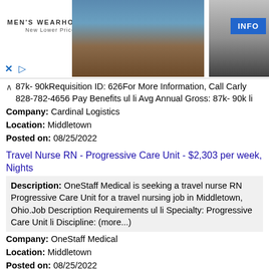[Figure (other): Men's Wearhouse advertisement banner with couple in formalwear and solo figure, with INFO button]
87k- 90kRequisition ID: 626For More Information, Call Carly 828-782-4656 Pay Benefits ul li Avg Annual Gross: 87k- 90k li Company: Cardinal Logistics Location: Middletown Posted on: 08/25/2022
Travel Nurse RN - Progressive Care Unit - $2,303 per week, Nights
Description: OneStaff Medical is seeking a travel nurse RN Progressive Care Unit for a travel nursing job in Middletown, Ohio.Job Description Requirements ul li Specialty: Progressive Care Unit li Discipline: (more...)
Company: OneStaff Medical
Location: Middletown
Posted on: 08/25/2022
Admitting Representative - Middletown - Patient Access - Part-Time - Nights
Description: Kettering Health is a not-for-profit system of 13